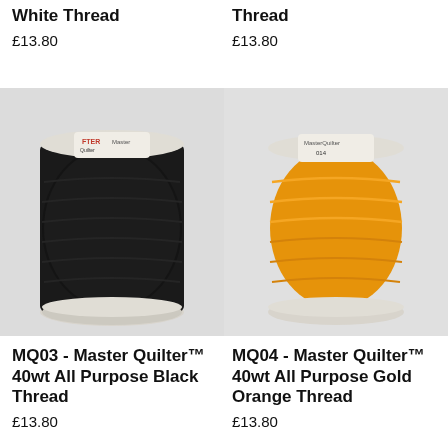White Thread
£13.80
[Figure (photo): A large spool of black thread (MQ03 Master Quilter brand) on white background]
Thread
£13.80
[Figure (photo): A large spool of gold orange thread (MQ04 Master Quilter brand) on white background]
MQ03 - Master Quilter™ 40wt All Purpose Black Thread
£13.80
MQ04 - Master Quilter™ 40wt All Purpose Gold Orange Thread
£13.80